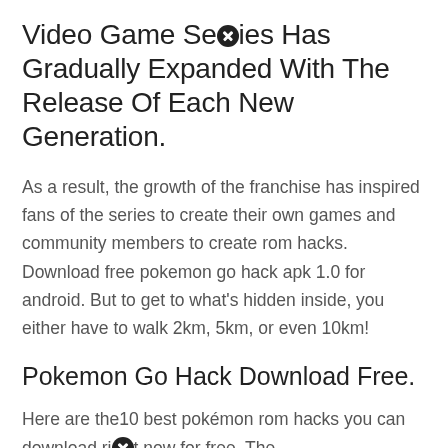Video Game Series Has Gradually Expanded With The Release Of Each New Generation.
As a result, the growth of the franchise has inspired fans of the series to create their own games and community members to create rom hacks. Download free pokemon go hack apk 1.0 for android. But to get to what's hidden inside, you either have to walk 2km, 5km, or even 10km!
Pokemon Go Hack Download Free.
Here are the10 best pokémon rom hacks you can download right now for free. The